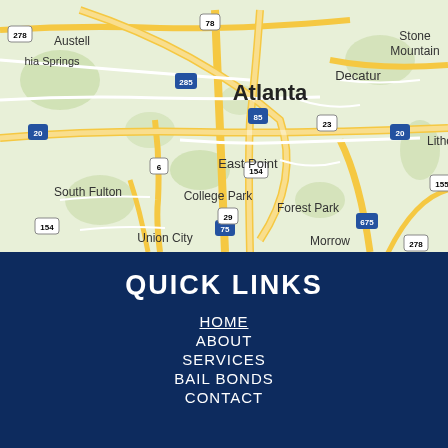[Figure (map): Google Maps view centered on Atlanta, GA area showing surrounding cities including Austell, Stone Mountain, Decatur, East Point, College Park, Forest Park, South Fulton, Morrow, Union City, with major highways labeled (I-20, I-285, I-85, I-75, I-675, I-278, US-78, US-154, US-29, US-6, US-23, US-155).]
QUICK LINKS
HOME
ABOUT
SERVICES
BAIL BONDS
CONTACT